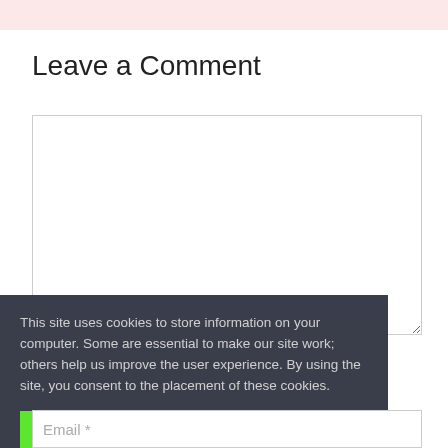Leave a Comment
[Figure (screenshot): Empty comment text area input field with light border]
This site uses cookies to store information on your computer. Some are essential to make our site work; others help us improve the user experience. By using the site, you consent to the placement of these cookies.
Agree & Dismiss
Email *